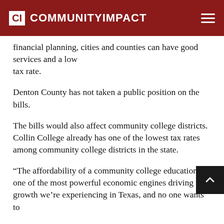CI COMMUNITYIMPACT
financial planning, cities and counties can have good services and a low tax rate.
Denton County has not taken a public position on the bills.
The bills would also affect community college districts. Collin College already has one of the lowest tax rates among community college districts in the state.
“The affordability of a community college education is one of the most powerful economic engines driving the growth we’re experiencing in Texas, and no one wants to